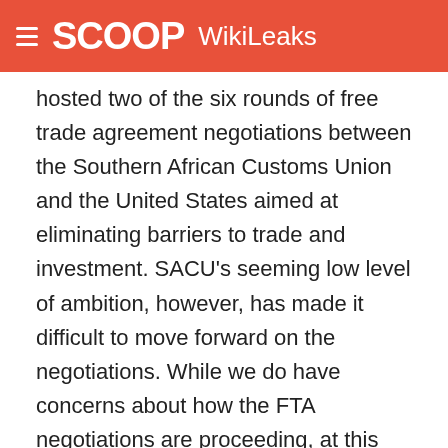SCOOP WikiLeaks
hosted two of the six rounds of free trade agreement negotiations between the Southern African Customs Union and the United States aimed at eliminating barriers to trade and investment. SACU's seeming low level of ambition, however, has made it difficult to move forward on the negotiations. While we do have concerns about how the FTA negotiations are proceeding, at this point Post concludes that South Africa continues to comply with the eligibility requirements of